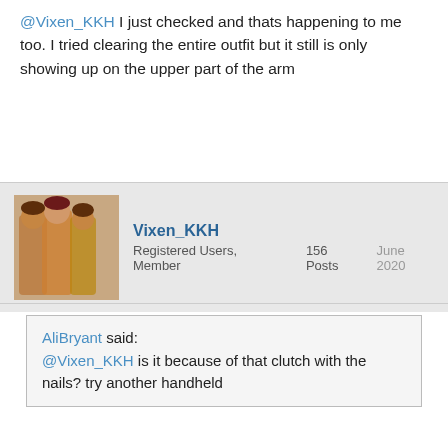@Vixen_KKH I just checked and thats happening to me too. I tried clearing the entire outfit but it still is only showing up on the upper part of the arm
Vixen_KKH
Registered Users, Member    156 Posts    June 2020
AliBryant said:
@Vixen_KKH is it because of that clutch with the nails? try another handheld
Even without a purse, it remains that way, but
AliBryant
Advanced Member    Registered Users
6,023 Posts    June 2020